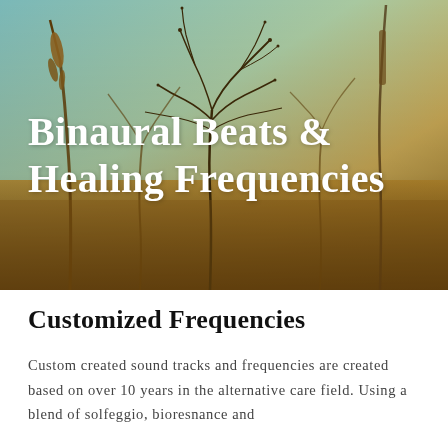[Figure (photo): Background photo of dried wildflowers and tall grasses against a warm golden-amber and teal/turquoise sky. The image has a warm, earthy tone with silhouetted plant stems and seed heads. White serif text reading 'Binaural Beats & Healing Frequencies' is overlaid on the left-center of the image.]
Customized Frequencies
Custom created sound tracks and frequencies are created based on over 10 years in the alternative care field. Using a blend of solfeggio, bioresnance and